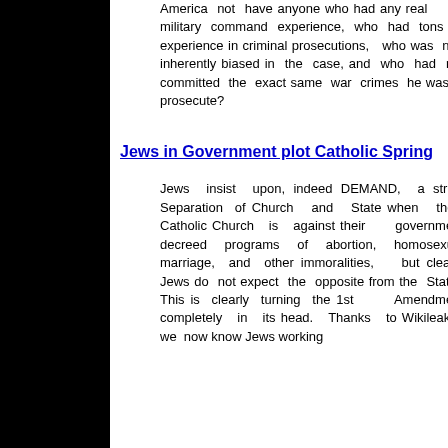America not have anyone who had any real military command experience, who had tons of experience in criminal prosecutions, who was not inherently biased in the case, and who had not committed the exact same war crimes he was to prosecute?
Jews in Government plot Catholic Spring
Jews insist upon, indeed DEMAND, a strict Separation of Church and State when the Catholic Church is against their government decreed programs of abortion, homosexual marriage, and other immoralities, but clearly Jews do not expect the opposite from the State. This is clearly turning the 1st Amendment completely in its head. Thanks to Wikileaks, we now know Jews working